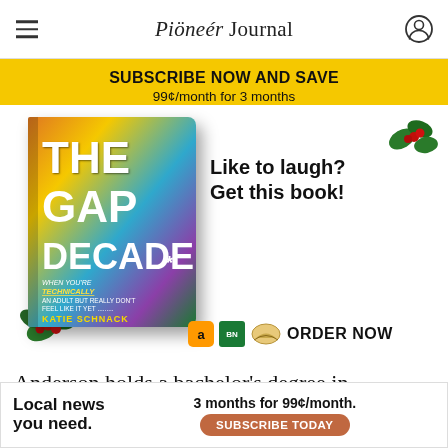Pioneer Journal
SUBSCRIBE NOW AND SAVE
99¢/month for 3 months
[Figure (illustration): Book advertisement for 'The Gap Decade' by Katie Schnack with holly decorations and ORDER NOW button with Amazon, BN, and Books-A-Million icons. Tagline: 'Like to laugh? Get this book!']
Anderson holds a bachelor's degree in educa... een recru... ition
Local news you need.  3 months for 99¢/month.  SUBSCRIBE TODAY